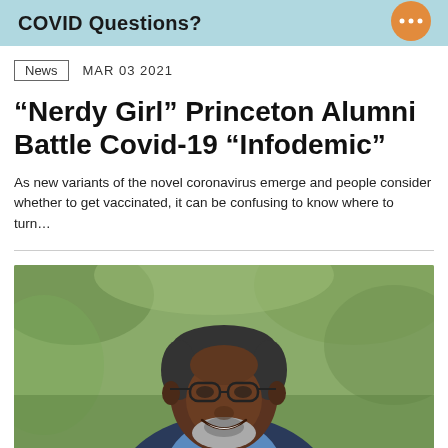COVID Questions?
News   MAR 03 2021
“Nerdy Girl” Princeton Alumni Battle Covid-19 “Infodemic”
As new variants of the novel coronavirus emerge and people consider whether to get vaccinated, it can be confusing to know where to turn…
[Figure (photo): Portrait photo of a smiling Black man with glasses, grey beard, wearing a blue dress shirt and dark blazer with a tie, outdoors with green blurred background]